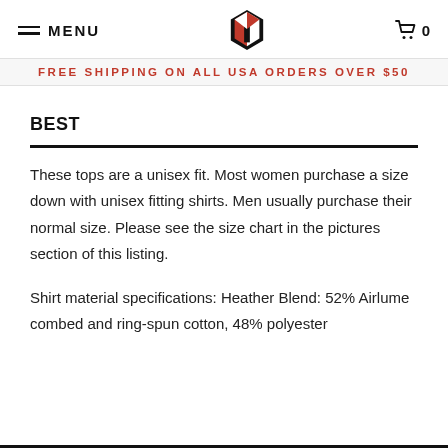MENU | [logo] | 0
FREE SHIPPING ON ALL USA ORDERS OVER $50
BEST
These tops are a unisex fit. Most women purchase a size down with unisex fitting shirts. Men usually purchase their normal size. Please see the size chart in the pictures section of this listing.

Shirt material specifications: Heather Blend: 52% Airlume combed and ring-spun cotton, 48% polyester